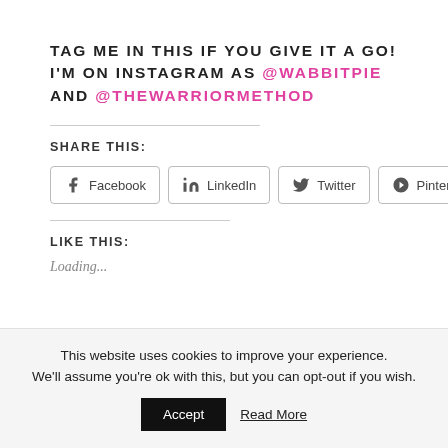TAG ME IN THIS IF YOU GIVE IT A GO! I'M ON INSTAGRAM AS @WABBITPIE AND @THEWARRIORMETHOD
SHARE THIS:
Facebook LinkedIn Twitter Pinterest
LIKE THIS:
Loading...
This website uses cookies to improve your experience. We'll assume you're ok with this, but you can opt-out if you wish.